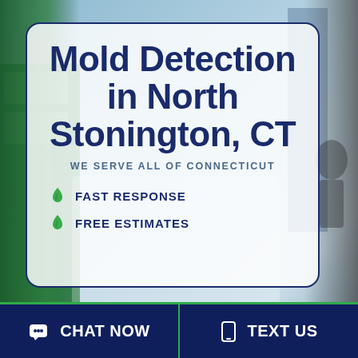[Figure (infographic): Background photo of green service vehicles/buses and city buildings, with white semi-transparent overlay card]
Mold Detection in North Stonington, CT
WE SERVE ALL OF CONNECTICUT
FAST RESPONSE
FREE ESTIMATES
CHAT NOW
TEXT US